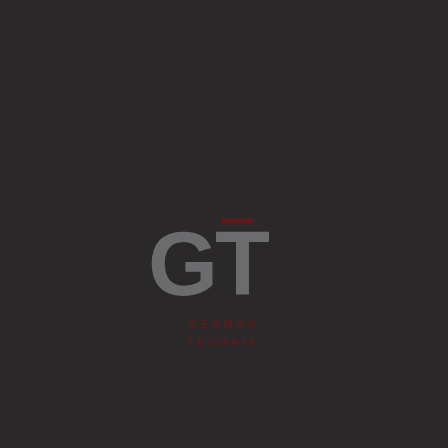[Figure (logo): German Technik logo: large 'GT' letters in muted silver-gray on a dark charcoal background, with a dark red horizontal bar accent above the T, and 'GERMAN TECHNIK' text in small dark red spaced capitals beneath.]